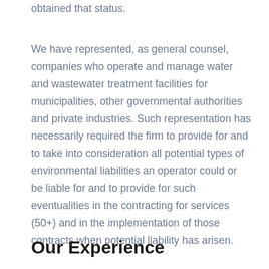obtained that status.
We have represented, as general counsel, companies who operate and manage water and wastewater treatment facilities for municipalities, other governmental authorities and private industries. Such representation has necessarily required the firm to provide for and to take into consideration all potential types of environmental liabilities an operator could or be liable for and to provide for such eventualities in the contracting for services (50+) and in the implementation of those contracts when potential liability has arisen.
Our Experience